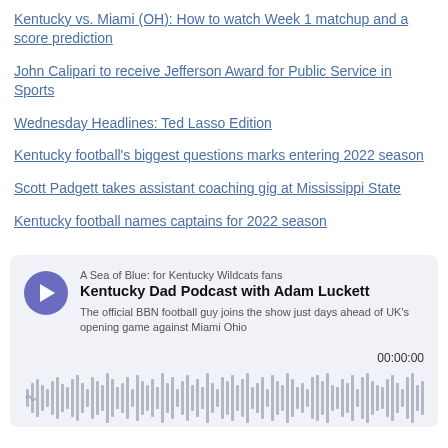Kentucky vs. Miami (OH): How to watch Week 1 matchup and a score prediction
John Calipari to receive Jefferson Award for Public Service in Sports
Wednesday Headlines: Ted Lasso Edition
Kentucky football's biggest questions marks entering 2022 season
Scott Padgett takes assistant coaching gig at Mississippi State
Kentucky football names captains for 2022 season
[Figure (screenshot): Podcast player card for 'Kentucky Dad Podcast with Adam Luckett' from A Sea of Blue: for Kentucky Wildcats fans. Shows play button, podcast title, description text 'The official BBN football guy joins the show just days ahead of UK's opening game against Miami Ohio', timestamp 00:00:00, and an audio waveform visualization.]